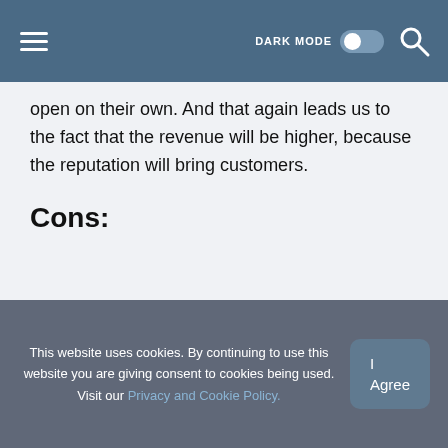DARK MODE [toggle] [search]
open on their own. And that again leads us to the fact that the revenue will be higher, because the reputation will bring customers.
Cons:
This website uses cookies. By continuing to use this website you are giving consent to cookies being used. Visit our Privacy and Cookie Policy.